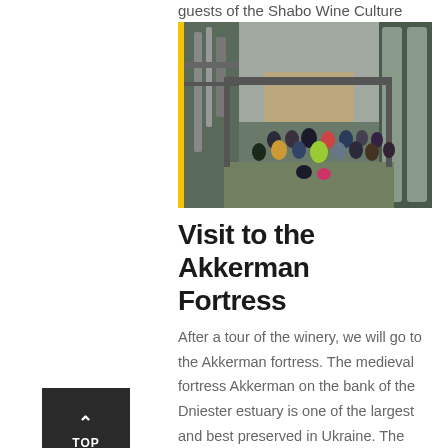guests of the Shabo Wine Culture Center.
[Figure (photo): Group of people posing between large stainless steel fermentation tanks at a winery facility. A yellow vertical stripe borders the left side of the image.]
Visit to the Akkerman Fortress
After a tour of the winery, we will go to the Akkerman fortress. The medieval fortress Akkerman on the bank of the Dniester estuary is one of the largest and best preserved in Ukraine. The construction of the